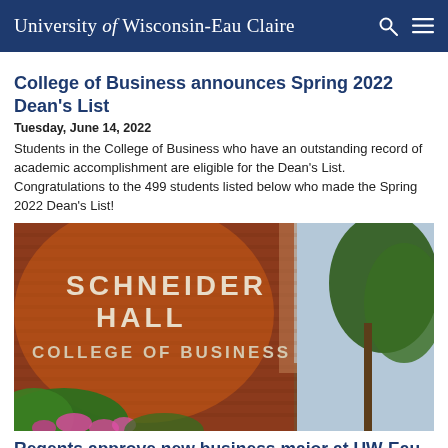University of Wisconsin-Eau Claire
College of Business announces Spring 2022 Dean's List
Tuesday, June 14, 2022
Students in the College of Business who have an outstanding record of academic accomplishment are eligible for the Dean's List. Congratulations to the 499 students listed below who made the Spring 2022 Dean's List!
[Figure (photo): Exterior photo of Schneider Hall College of Business building at UW-Eau Claire, showing red brick wall with white letter signage reading SCHNEIDER HALL COLLEGE OF BUSINESS, with green foliage and pink flowers in foreground and trees in background.]
Regents approve new business major at UW-Eau Claire